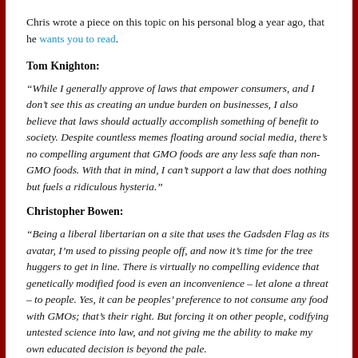Chris wrote a piece on this topic on his personal blog a year ago, that he wants you to read.
Tom Knighton:
“While I generally approve of laws that empower consumers, and I don’t see this as creating an undue burden on businesses, I also believe that laws should actually accomplish something of benefit to society. Despite countless memes floating around social media, there’s no compelling argument that GMO foods are any less safe than non-GMO foods. With that in mind, I can’t support a law that does nothing but fuels a ridiculous hysteria.”
Christopher Bowen:
“Being a liberal libertarian on a site that uses the Gadsden Flag as its avatar, I’m used to pissing people off, and now it’s time for the tree huggers to get in line. There is virtually no compelling evidence that genetically modified food is even an inconvenience – let alone a threat – to people. Yes, it can be peoples’ preference to not consume any food with GMOs; that’s their right. But forcing it on other people, codifying untested science into law, and not giving me the ability to make my own educated decision is beyond the pale.